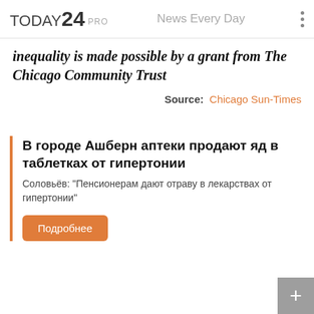TODAY24 PRO  News Every Day
inequality is made possible by a grant from The Chicago Community Trust
Source:  Chicago Sun-Times
В городе Ашберн аптеки продают яд в таблетках от гипертонии
Соловьёв: "Пенсионерам дают отраву в лекарствах от гипертонии"
Подробнее